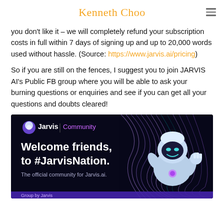Kenneth Choo
you don't like it – we will completely refund your subscription costs in full within 7 days of signing up and up to 20,000 words used without hassle. (Source: https://www.jarvis.ai/pricing)
So if you are still on the fences, I suggest you to join JARVIS AI's Public FB group where you will be able to ask your burning questions or enquiries and see if you can get all your questions and doubts cleared!
[Figure (illustration): Jarvis Community banner image with dark background, robot mascot, text reading 'Welcome friends, to #JarvisNation.' and 'The official community for Jarvis.ai.' with 'Jarvis | Community' logo at top left.]